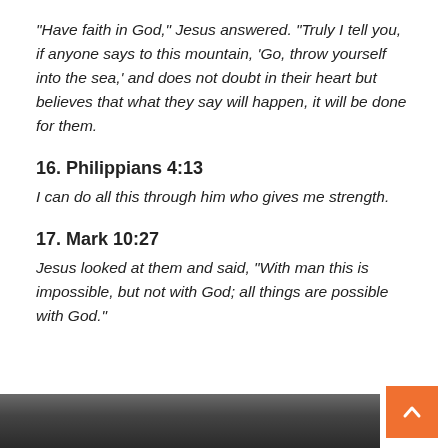“Have faith in God,” Jesus answered. “Truly I tell you, if anyone says to this mountain, ‘Go, throw yourself into the sea,’ and does not doubt in their heart but believes that what they say will happen, it will be done for them.
16. Philippians 4:13
I can do all this through him who gives me strength.
17. Mark 10:27
Jesus looked at them and said, “With man this is impossible, but not with God; all things are possible with God.”
[Figure (photo): Partial dark photo visible at the bottom of the page, appears to show a person or figure]